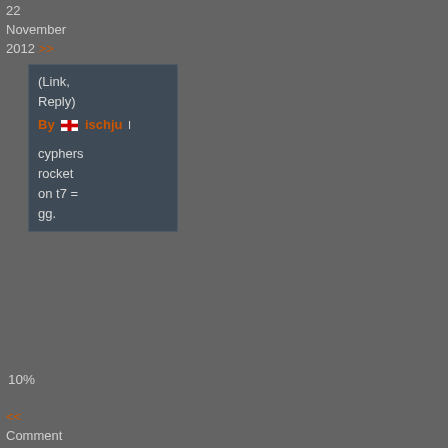22 November 2012 >>
(Link, Reply)
By [flag] ischju [score]
cyphers rocket on t7 = gg.
10%
<< Comment #87 @ 08:30 CST, 22 November 2012 >>
(Link, Reply)
By [flag] gienon [score]
Cyphere
<< Comment #88 @ 08:35 CST, 22 November